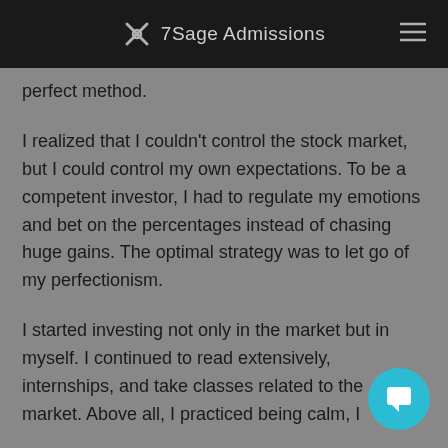7Sage Admissions
perfect method.
I realized that I couldn't control the stock market, but I could control my own expectations. To be a competent investor, I had to regulate my emotions and bet on the percentages instead of chasing huge gains. The optimal strategy was to let go of my perfectionism.
I started investing not only in the market but in myself. I continued to read extensively, internships, and take classes related to the market. Above all, I practiced being calm, I